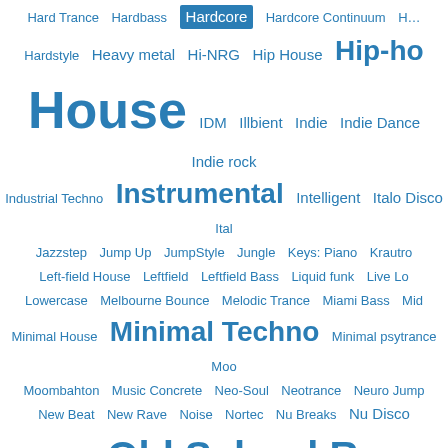[Figure (infographic): Music genre word cloud with terms in various font sizes reflecting popularity/frequency, all in blue color on white background. 'Hardcore' is highlighted with a blue background box. Visible genres include Hard Trance, Hardbass, Hardcore, Hardcore Continuum, Hardstyle, Heavy metal, Hi-NRG, Hip House, Hip-ho(p), House, IDM, Illbient, Indie, Indie Dance, Indie rock, Industrial Techno, Instrumental, Intelligent, Italo Disco, Ital(o), Jazzstep, Jump Up, JumpStyle, Jungle, Keys: Piano, Krautro(ck), Left-field House, Leftfield, Leftfield Bass, Liquid funk, Live Lo(unge), Lowercase, Melbourne Bounce, Melodic Trance, Miami Bass, Mid(tempo), Minimal House, Minimal Techno, Minimal psytrance, Moo(g), Moombahton, Music Concrete, Neo-Soul, Neotrance, Neuro Jump(step), New Beat, New Rave, Noise, Nortec, Nu Breaks, Nu Disco, Nu metal, Old School Rap, Oldschool Drum & Bass, Philly Disc(o), Pop Rock, Post Dubstep, Post-punk, Post-rock, Power Noi(se), Progressive House, Progressive Trance, Prog(ressive), Psy Trance, Psy-Progressive Trance, Psybient, Psychedelic H(ouse), Pumping House, Punk rock, R&B, Ragga Jungle, Ragga(muffin), Reggaeton, Rock, Rock'n'roll, Rockabilly, Russian Pop, Scouse House, Shoegazing, Ska, Slow Motion House (Disco), Soulful Drum & Bass, Soulful House, Southern Rap, Space Disco, Speedcore, Stoner rock, Surf, Synth-Pop, Synthwave, Te(chnobass?), Techno, Techno Bass, Techno Drum & Bass, Technoid, Tech(no?), Trance, Trancesten, Trap, Tribal House, Tribal Techno]